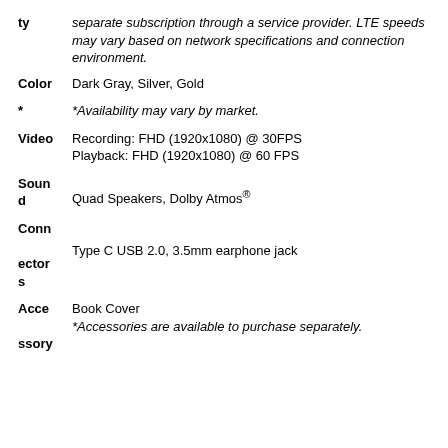ty   separate subscription through a service provider. LTE speeds may vary based on network specifications and connection environment.
Color   Dark Gray, Silver, Gold
*   *Availability may vary by market.
Video   Recording: FHD (1920x1080) @ 30FPS
Playback: FHD (1920x1080) @ 60 FPS
Sound   Quad Speakers, Dolby Atmos®
Connectors   Type C USB 2.0, 3.5mm earphone jack
Accessory   Book Cover
*Accessories are available to purchase separately.